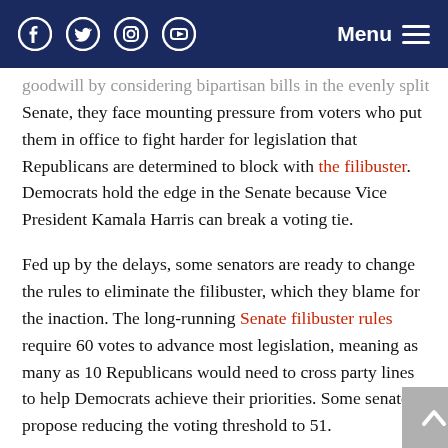Social media icons (Facebook, Twitter, Instagram, YouTube) and Menu button
goodwill by considering bipartisan bills in the evenly split Senate, they face mounting pressure from voters who put them in office to fight harder for legislation that Republicans are determined to block with the filibuster. Democrats hold the edge in the Senate because Vice President Kamala Harris can break a voting tie.
Fed up by the delays, some senators are ready to change the rules to eliminate the filibuster, which they blame for the inaction. The long-running Senate filibuster rules require 60 votes to advance most legislation, meaning as many as 10 Republicans would need to cross party lines to help Democrats achieve their priorities. Some senators propose reducing the voting threshold to 51.